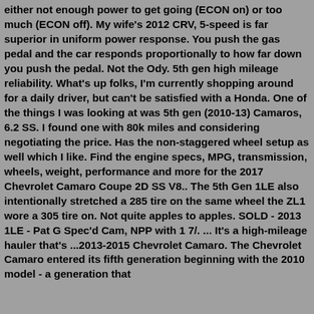either not enough power to get going (ECON on) or too much (ECON off). My wife's 2012 CRV, 5-speed is far superior in uniform power response. You push the gas pedal and the car responds proportionally to how far down you push the pedal. Not the Ody. 5th gen high mileage reliability. What's up folks, I'm currently shopping around for a daily driver, but can't be satisfied with a Honda. One of the things I was looking at was 5th gen (2010-13) Camaros, 6.2 SS. I found one with 80k miles and considering negotiating the price. Has the non-staggered wheel setup as well which I like. Find the engine specs, MPG, transmission, wheels, weight, performance and more for the 2017 Chevrolet Camaro Coupe 2D SS V8.. The 5th Gen 1LE also intentionally stretched a 285 tire on the same wheel the ZL1 wore a 305 tire on. Not quite apples to apples. SOLD - 2013 1LE - Pat G Spec'd Cam, NPP with 1 7/. ... It's a high-mileage hauler that's ...2013-2015 Chevrolet Camaro. The Chevrolet Camaro entered its fifth generation beginning with the 2010 model - a generation that